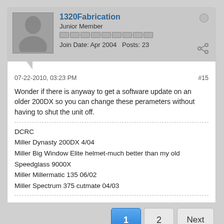1320Fabrication
Junior Member
Join Date: Apr 2004   Posts: 23
07-22-2010, 03:23 PM
#15
Wonder if there is anyway to get a software update on an older 200DX so you can change these perameters without having to shut the unit off.
DCRC
Miller Dynasty 200DX 4/04
Miller Big Window Elite helmet-much better than my old Speedglass 9000X
Miller Millermatic 135 06/02
Miller Spectrum 375 cutmate 04/03